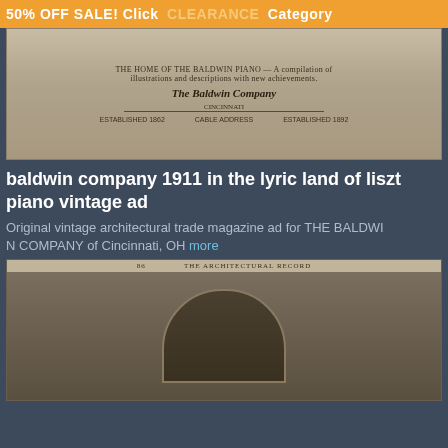50% OFF SALE! Click CLEARANCE Category
[Figure (photo): Vintage advertisement image for The Baldwin Company of Cincinnati with ornate header and text]
baldwin company 1911 in the lyric land of liszt piano vintage ad
Original vintage architectural trade magazine ad for THE BALDWIN COMPANY of Cincinnati, OH more
$22.00 $16.50
You save: $5.50 (25%)
ADD TO CART
[Figure (photo): Partial view of a second product listing showing an architectural interior image from The Architectural Record]